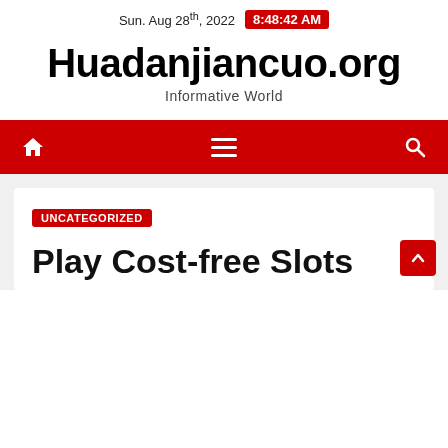Sun. Aug 28th, 2022  8:48:42 AM
Huadanjiancuo.org
Informative World
[Figure (screenshot): Red navigation bar with home icon, hamburger menu icon, and search icon]
UNCATEGORIZED
Play Cost-free Slots